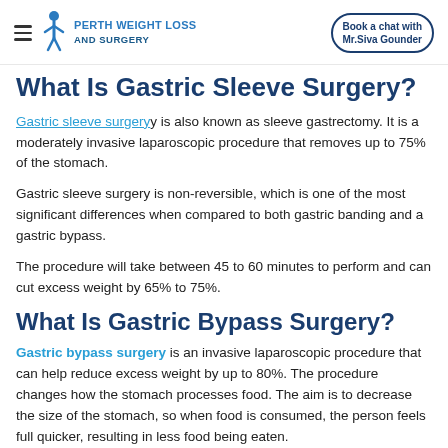Perth Weight Loss and Surgery | Book a chat with Mr.Siva Gounder
What Is Gastric Sleeve Surgery?
Gastric sleeve surgery is also known as sleeve gastrectomy. It is a moderately invasive laparoscopic procedure that removes up to 75% of the stomach.
Gastric sleeve surgery is non-reversible, which is one of the most significant differences when compared to both gastric banding and a gastric bypass.
The procedure will take between 45 to 60 minutes to perform and can cut excess weight by 65% to 75%.
What Is Gastric Bypass Surgery?
Gastric bypass surgery is an invasive laparoscopic procedure that can help reduce excess weight by up to 80%. The procedure changes how the stomach processes food. The aim is to decrease the size of the stomach, so when food is consumed, the person feels full quicker, resulting in less food being eaten.